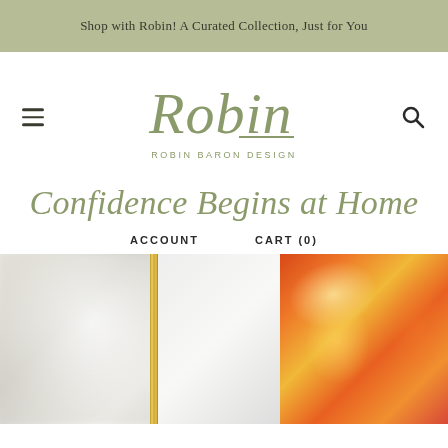Shop with Robin! A Curated Collection, Just for You
[Figure (logo): Robin Baron Design logo with script 'Robin' text above 'ROBIN BARON DESIGN' wordmark in sage green, with hamburger menu icon on left and search icon on right]
Confidence Begins at Home
ACCOUNT    CART (0)
[Figure (photo): Left: blurred close-up of a gold-framed mirror on a light neutral background. Right: vibrant abstract painting with warm orange, red, and yellow tones.]